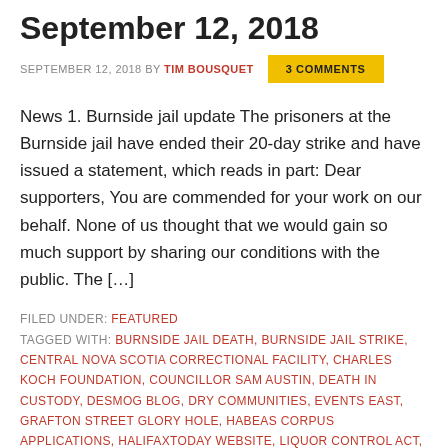September 12, 2018
SEPTEMBER 12, 2018 BY TIM BOUSQUET   3 COMMENTS
News 1. Burnside jail update The prisoners at the Burnside jail have ended their 20-day strike and have issued a statement, which reads in part: Dear supporters, You are commended for your work on our behalf. None of us thought that we would gain so much support by sharing our conditions with the public. The [...]
FILED UNDER: FEATURED
TAGGED WITH: BURNSIDE JAIL DEATH, BURNSIDE JAIL STRIKE, CENTRAL NOVA SCOTIA CORRECTIONAL FACILITY, CHARLES KOCH FOUNDATION, COUNCILLOR SAM AUSTIN, DEATH IN CUSTODY, DESMOG BLOG, DRY COMMUNITIES, EVENTS EAST, GRAFTON STREET GLORY HOLE, HABEAS CORPUS APPLICATIONS, HALIFAXTODAY WEBSITE, LIQUOR CONTROL ACT, MATTHEW LAMBERT, MINISTER KAREN CASEY, PETER